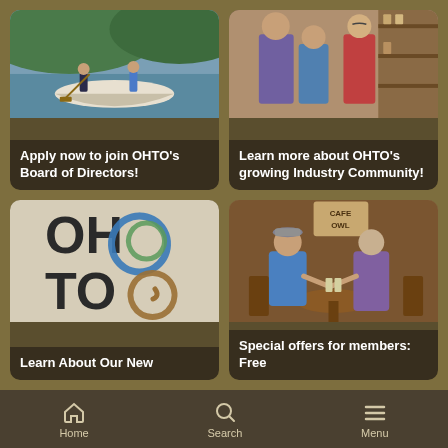[Figure (photo): People paddling a canoe on a lake with trees in the background]
Apply now to join OHTO's Board of Directors!
[Figure (photo): Two people talking with a shop worker in an indoor retail space with shelves]
Learn more about OHTO's growing Industry Community!
[Figure (logo): OHTO logo with colorful circular brushstroke design and large letters OH TO]
Learn About Our New
[Figure (photo): Two people sitting at a wooden table at an outdoor cafe called Cafe Owl, toasting drinks]
Special offers for members: Free
Home  Search  Menu